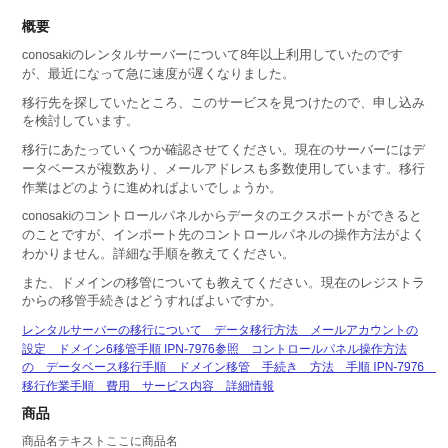概要
conosakiのレンタルサーバーについて8年以上利用していたのですが、最近になって急に速度が遅くなりました。
移行先を探していたところ、このサービスを見つけたので、申し込みを検討しています。
移行にあたっていくつか確認させてください。現在のサーバーにはデータベースが複数あり、メールアドレスも多数使用しています。移行作業はどのように進めればよいでしょうか。
conosakiのコントロールパネルからデータのエクスポートができるとのことですが、インポート先のコントロールパネルの操作方法がよくわかりません。詳細な手順を教えてください。
また、ドメインの移管についても教えてください。現在のレジストラからの移管手続きはどうすればよいですか。
リンクブロック（参照URL）
IPN-7976参照リンクテキスト（日本語）
商品
商品名テキストここに商品名
価格 62,700円（税込）